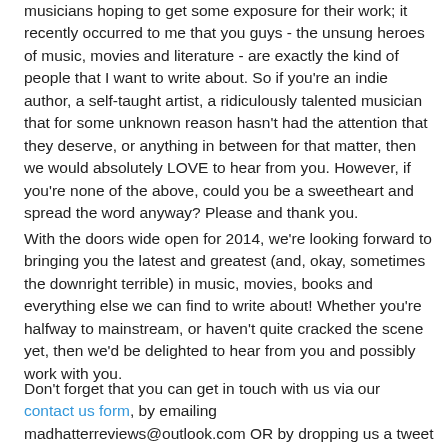musicians hoping to get some exposure for their work; it recently occurred to me that you guys - the unsung heroes of music, movies and literature - are exactly the kind of people that I want to write about. So if you're an indie author, a self-taught artist, a ridiculously talented musician that for some unknown reason hasn't had the attention that they deserve, or anything in between for that matter, then we would absolutely LOVE to hear from you. However, if you're none of the above, could you be a sweetheart and spread the word anyway? Please and thank you.
With the doors wide open for 2014, we're looking forward to bringing you the latest and greatest (and, okay, sometimes the downright terrible) in music, movies, books and everything else we can find to write about! Whether you're halfway to mainstream, or haven't quite cracked the scene yet, then we'd be delighted to hear from you and possibly work with you.
Don't forget that you can get in touch with us via our contact us form, by emailing madhatterreviews@outlook.com OR by dropping us a tweet to @madhreview. Oh! Or Facebook (Mad Hatter Reviews), you